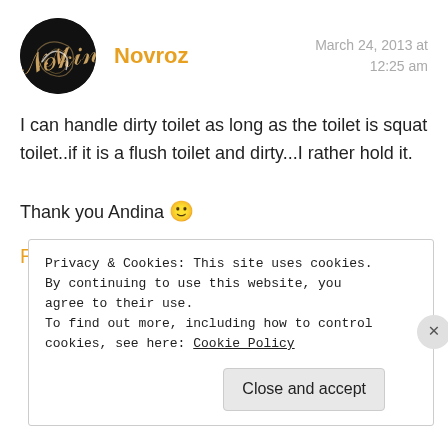[Figure (photo): Circular avatar with dark background and stylized signature/logo in white and rose gold]
Novroz
March 24, 2013 at 12:25 am
I can handle dirty toilet as long as the toilet is squat toilet..if it is a flush toilet and dirty...I rather hold it.

Thank you Andina 🙂
Reply
Privacy & Cookies: This site uses cookies. By continuing to use this website, you agree to their use.
To find out more, including how to control cookies, see here: Cookie Policy
Close and accept